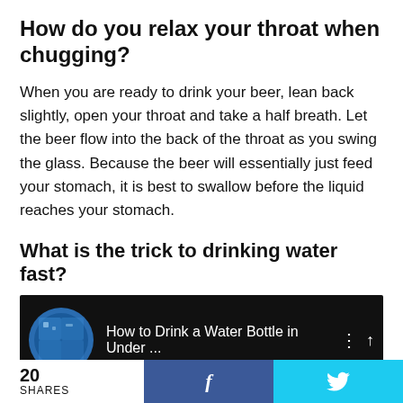How do you relax your throat when chugging?
When you are ready to drink your beer, lean back slightly, open your throat and take a half breath. Let the beer flow into the back of the throat as you swing the glass. Because the beer will essentially just feed your stomach, it is best to swallow before the liquid reaches your stomach.
What is the trick to drinking water fast?
[Figure (screenshot): Video thumbnail with dark background showing a circular icon (blue/teal) and text 'How to Drink a Water Bottle in Under ...' with three-dot menu and an up arrow. Below is a gray strip with gold dot decorations.]
20 SHARES